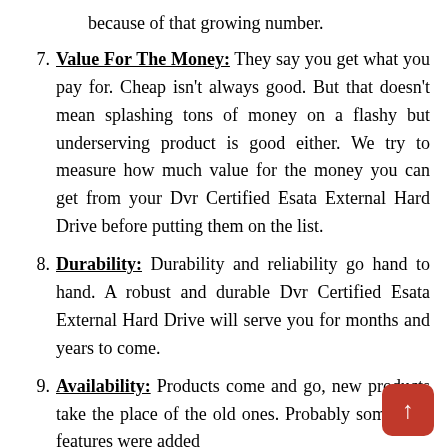because of that growing number.
7. Value For The Money: They say you get what you pay for. Cheap isn't always good. But that doesn't mean splashing tons of money on a flashy but underserving product is good either. We try to measure how much value for the money you can get from your Dvr Certified Esata External Hard Drive before putting them on the list.
8. Durability: Durability and reliability go hand to hand. A robust and durable Dvr Certified Esata External Hard Drive will serve you for months and years to come.
9. Availability: Products come and go, new products take the place of the old ones. Probably some new features were added...